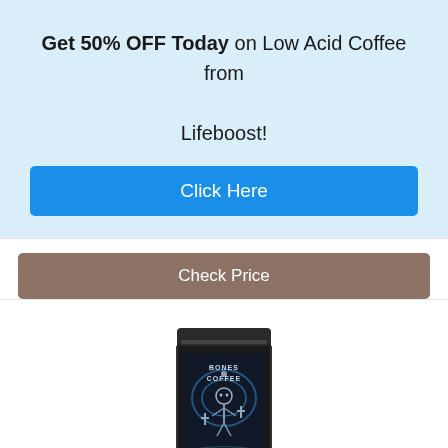Get 50% OFF Today on Low Acid Coffee from Lifeboost!
Click Here
Check Price
[Figure (photo): A dark black resealable coffee bag with blue and silver graphic artwork showing a skeleton figure, labeled 'BONES COFFEE' and 'HIGH VOLTAGE' on the front panel.]